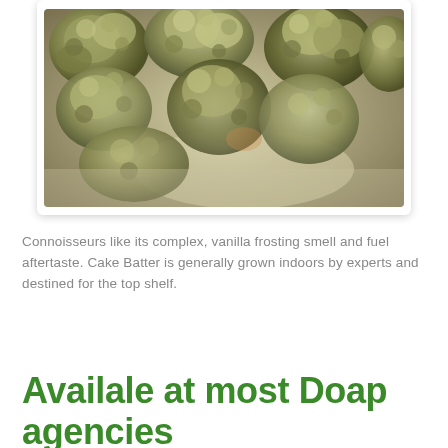[Figure (photo): Close-up photograph of cannabis buds/flower, showing dense green-grey buds against a light background.]
Connoisseurs like its complex, vanilla frosting smell and fuel aftertaste. Cake Batter is generally grown indoors by experts and destined for the top shelf.
Availale at most Doap agencies